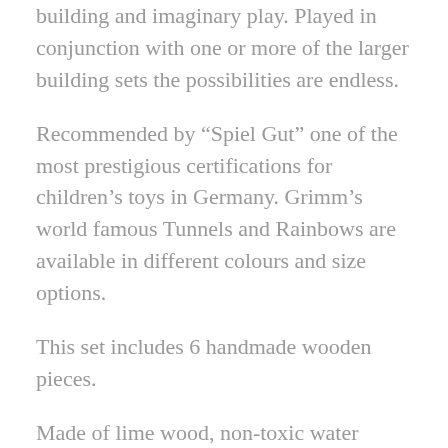building and imaginary play. Played in conjunction with one or more of the larger building sets the possibilities are endless.
Recommended by “Spiel Gut” one of the most prestigious certifications for children’s toys in Germany. Grimm’s world famous Tunnels and Rainbows are available in different colours and size options.
This set includes 6 handmade wooden pieces.
Made of lime wood, non-toxic water based colour stain.
Measures 17cm in length.
Grimm’s love wood because it is a natural material